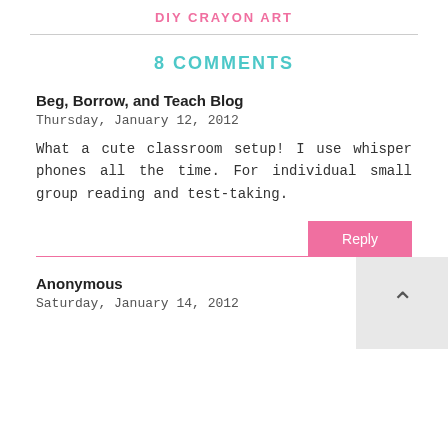DIY CRAYON ART
8 COMMENTS
Beg, Borrow, and Teach Blog
Thursday, January 12, 2012
What a cute classroom setup! I use whisper phones all the time. For individual small group reading and test-taking.
Anonymous
Saturday, January 14, 2012